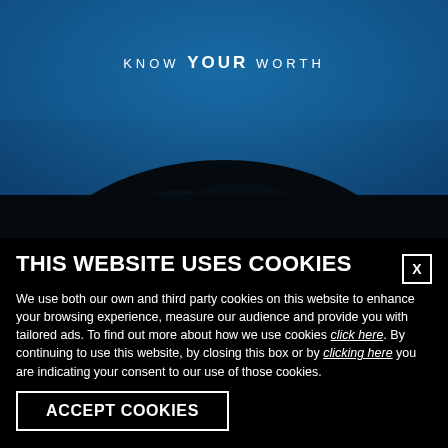[Figure (photo): Dark blue background with text 'KNOW YOUR WORTH' in white, with a large dark silhouette of a person's afro hair visible at the bottom of the image.]
THIS WEBSITE USES COOKIES
We use both our own and third party cookies on this website to enhance your browsing experience, measure our audience and provide you with tailored ads. To find out more about how we use cookies click here. By continuing to use this website, by closing this box or by clicking here you are indicating your consent to our use of those cookies.
ACCEPT COOKIES